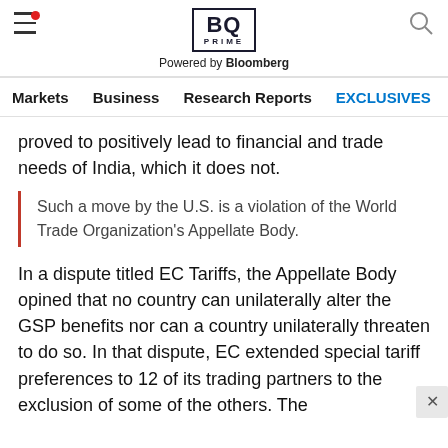BQ PRIME — Powered by Bloomberg
Markets  Business  Research Reports  EXCLUSIVES  Economy
proved to positively lead to financial and trade needs of India, which it does not.
Such a move by the U.S. is a violation of the World Trade Organization's Appellate Body.
In a dispute titled EC Tariffs, the Appellate Body opined that no country can unilaterally alter the GSP benefits nor can a country unilaterally threaten to do so. In that dispute, EC extended special tariff preferences to 12 of its trading partners to the exclusion of some of the others. The